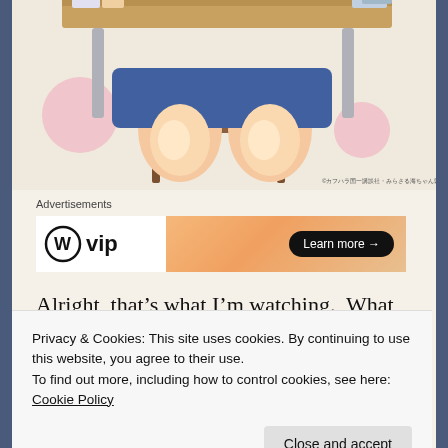[Figure (illustration): Anime-style illustration showing a student sitting at a school desk, visible from waist down, wearing a school uniform skirt. Books are on the desk. Pink circle decorations in background.]
Advertisements
[Figure (other): WordPress VIP advertisement banner with 'Learn more →' button on an orange-peach gradient background]
Alright, that's what I'm watching.  What are my dear readers looking at, and what should I add to this list?
Privacy & Cookies: This site uses cookies. By continuing to use this website, you agree to their use.
To find out more, including how to control cookies, see here: Cookie Policy
Close and accept